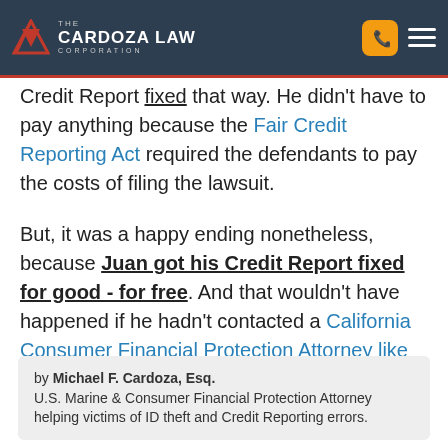Cardoza Law Corporation
Credit Report fixed that way. He didn't have to pay anything because the Fair Credit Reporting Act required the defendants to pay the costs of filing the lawsuit.

But, it was a happy ending nonetheless, because Juan got his Credit Report fixed for good - for free. And that wouldn't have happened if he hadn't contacted a California Consumer Financial Protection Attorney like me!
by Michael F. Cardoza, Esq.
U.S. Marine & Consumer Financial Protection Attorney helping victims of ID theft and Credit Reporting errors.